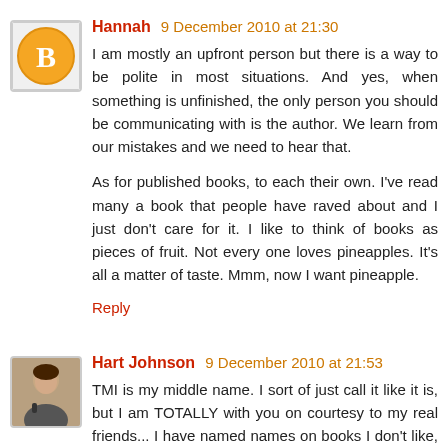Hannah 9 December 2010 at 21:30
I am mostly an upfront person but there is a way to be polite in most situations. And yes, when something is unfinished, the only person you should be communicating with is the author. We learn from our mistakes and we need to hear that.

As for published books, to each their own. I've read many a book that people have raved about and I just don't care for it. I like to think of books as pieces of fruit. Not every one loves pineapples. It's all a matter of taste. Mmm, now I want pineapple.
Reply
Hart Johnson 9 December 2010 at 21:53
TMI is my middle name. I sort of just call it like it is, but I am TOTALLY with you on courtesy to my real friends... I have named names on books I don't like, but they are always well established authors, and other than the Twilight Series,